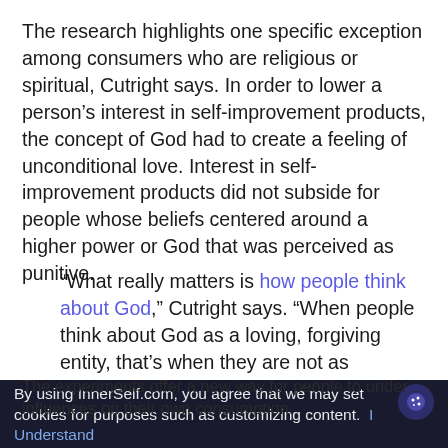The research highlights one specific exception among consumers who are religious or spiritual, Cutright says. In order to lower a person's interest in self-improvement products, the concept of God had to create a feeling of unconditional love. Interest in self-improvement products did not subside for people whose beliefs centered around a higher power or God that was perceived as punitive.
“What really matters is how people think about God,” Cutright says. “When people think about God as a loving, forgiving entity, that’s when they are not as interested in self-improvement products. But when we come across people who think about God as an authoritarian or punishing figure, this effect no longer exists, and they show more interest in self-improvement products.”
By using InnerSelf.com, you agree that we may set cookies for purposes such as customizing content.  I Understand
The experiments offer a new way for people to understand influences on their own consumption.